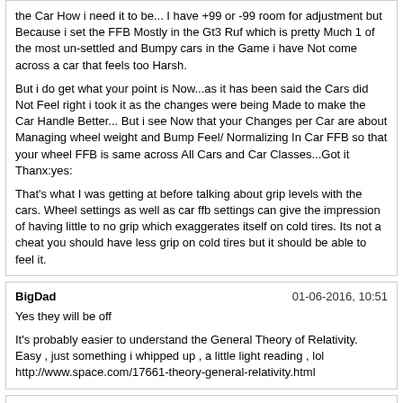the Car How i need it to be... I have +99 or -99 room for adjustment but Because i set the FFB Mostly in the Gt3 Ruf which is pretty Much 1 of the most un-settled and Bumpy cars in the Game i have Not come across a car that feels too Harsh.

But i do get what your point is Now...as it has been said the Cars did Not Feel right i took it as the changes were being Made to make the Car Handle Better... But i see Now that your Changes per Car are about Managing wheel weight and Bump Feel/ Normalizing In Car FFB so that your wheel FFB is same across All Cars and Car Classes...Got it Thanx:yes:

That's what I was getting at before talking about grip levels with the cars. Wheel settings as well as car ffb settings can give the impression of having little to no grip which exaggerates itself on cold tires. Its not a cheat you should have less grip on cold tires but it should be able to feel it.
BigDad | 01-06-2016, 10:51
Yes they will be off

It's probably easier to understand the General Theory of Relativity.
Easy , just something i whipped up , a little light reading , lol
http://www.space.com/17661-theory-general-relativity.html
morpwr | 01-06-2016, 10:58
IDK, I think there's always some loss of detail with compression. The higher the compression the more you lose. It's not extreme, and loss probably isn't the right word. But compressing that range means less differentiation, because it's working in a tighter more narrow space. You can see it in the telemetry. My guess is, some people could be fine with it (those with a higher degree of tactile sense) and some won't. That's what I was referring to when I said the cornering weight was less progressive, and I felt a slight loss of detail. It's probably still there, I just wasn't able to feel it at those levels.